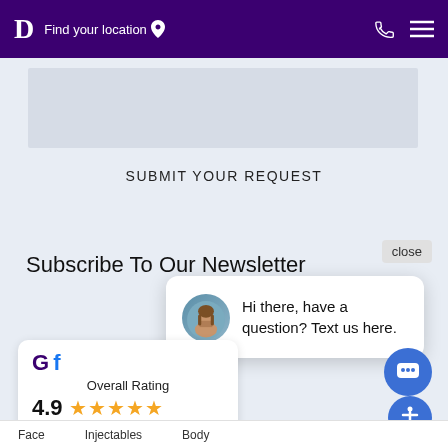D  Find your location
SUBMIT YOUR REQUEST
Subscribe To Our Newsletter
close
[Figure (screenshot): Chat popup with avatar photo of woman, text: Hi there, have a question? Text us here.]
[Figure (infographic): Rating card showing Google and Facebook logos, Overall Rating 4.9 with 5 stars, Read our 353 reviews]
[Figure (other): Blue circular chat button with message icon]
[Figure (other): Blue circular accessibility button]
Face   Injectables   Body